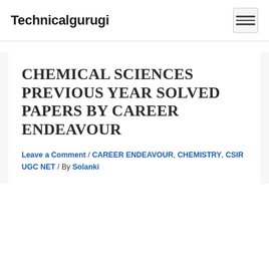Technicalgurugi
CHEMICAL SCIENCES PREVIOUS YEAR SOLVED PAPERS BY CAREER ENDEAVOUR
Leave a Comment / CAREER ENDEAVOUR, CHEMISTRY, CSIR UGC NET / By Solanki